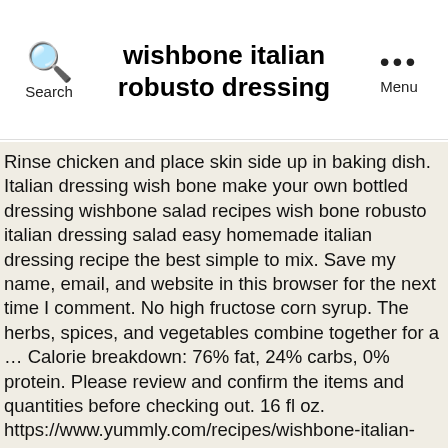wishbone italian robusto dressing
Rinse chicken and place skin side up in baking dish. Italian dressing wish bone make your own bottled dressing wishbone salad recipes wish bone robusto italian dressing salad easy homemade italian dressing recipe the best simple to mix. Save my name, email, and website in this browser for the next time I comment. No high fructose corn syrup. The herbs, spices, and vegetables combine together for a … Calorie breakdown: 76% fat, 24% carbs, 0% protein. Please review and confirm the items and quantities before checking out. 16 fl oz. https://www.yummly.com/recipes/wishbone-italian-dressing-chicken 1 . There are 90 calories in 2 tbsp (30 ml) of Wish-Bone Italian Dressing. Wish-Bone Zesty Robusto Italian Dressing mixes into your salads easily, providing robust flavor in every bite. Online prices do not reflect in-store pricing/availability. Pinterest. 16 oz. The herbs, spices, and vegetables combine together for a traditional taste your customer will love. We were unable